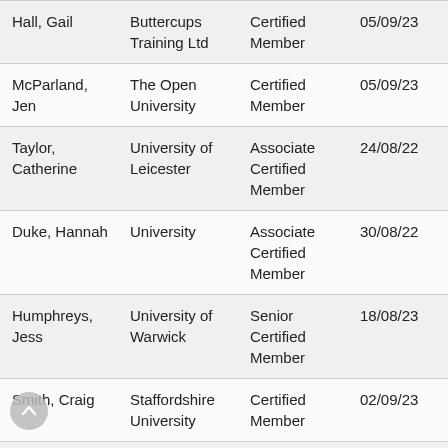| Name | Organisation | Membership Type | Date | ID |
| --- | --- | --- | --- | --- |
| Hall, Gail | Buttercups Training Ltd | Certified Member | 05/09/23 | 210953 |
| McParland, Jen | The Open University | Certified Member | 05/09/23 | 210955 |
| Taylor, Catherine | University of Leicester | Associate Certified Member | 24/08/22 | 210958 |
| Duke, Hannah | University | Associate Certified Member | 30/08/22 | 210963 |
| Humphreys, Jess | University of Warwick | Senior Certified Member | 18/08/23 | 210965 |
| Smith, Craig | Staffordshire University | Certified Member | 02/09/23 | 210966 |
| Fisher, Jeremy | University of Sheffield | Certified Member | 27/03/23 | 210967 |